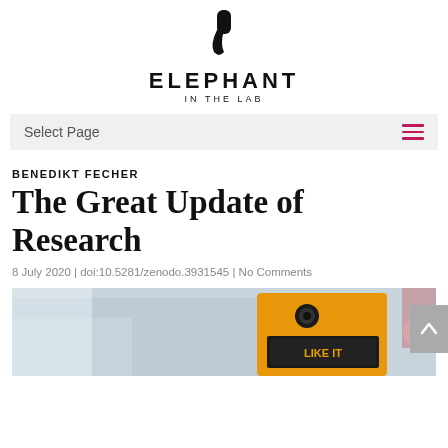[Figure (logo): Elephant in the Lab logo: a comma/apostrophe symbol above the text ELEPHANT IN THE LAB]
Select Page
BENEDIKT FECHER
The Great Update of Research
8 July 2020 | doi:10.5281/zenodo.3931545 | No Comments
[Figure (photo): Street photo showing a yellow object with text, blurred urban background]